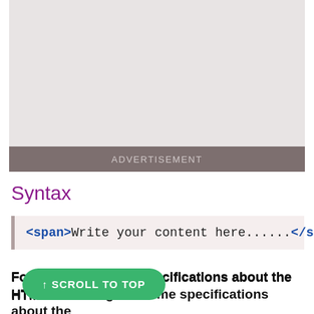[Figure (other): Gray advertisement placeholder box with a darker gray bar at the bottom labeled ADVERTISEMENT]
Syntax
<span>Write your content here......</span>
Following are some specifications about the HTML <span> tag
↑ SCROLL TO TOP